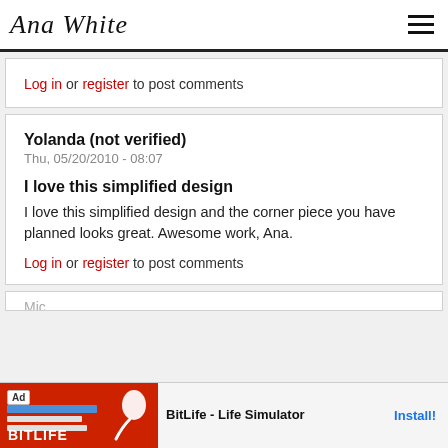Ana White
Log in or register to post comments
Yolanda (not verified)
Thu, 05/20/2010 - 08:07
I love this simplified design
I love this simplified design and the corner piece you have planned looks great. Awesome work, Ana.
Log in or register to post comments
[Figure (screenshot): Advertisement banner for BitLife - Life Simulator app with Install button]